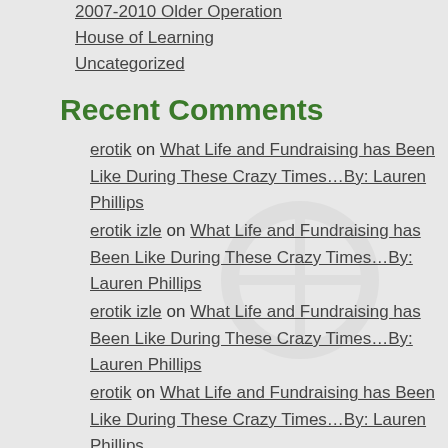2007-2010 Older Operation
House of Learning
Uncategorized
Recent Comments
erotik on What Life and Fundraising has Been Like During These Crazy Times…By: Lauren Phillips
erotik izle on What Life and Fundraising has Been Like During These Crazy Times…By: Lauren Phillips
erotik izle on What Life and Fundraising has Been Like During These Crazy Times…By: Lauren Phillips
erotik on What Life and Fundraising has Been Like During These Crazy Times…By: Lauren Phillips
behavioral interview questions on Bandhu or